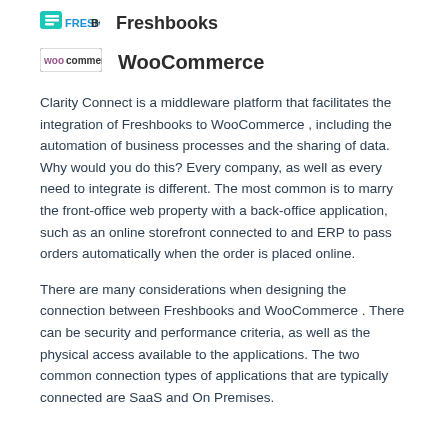[Figure (logo): FreshBooks logo with blue and teal colored text and icon]
Freshbooks
[Figure (logo): WooCommerce badge logo with purple 'woo' and black 'commerce' text]
WooCommerce
Clarity Connect is a middleware platform that facilitates the integration of Freshbooks to WooCommerce , including the automation of business processes and the sharing of data. Why would you do this? Every company, as well as every need to integrate is different. The most common is to marry the front-office web property with a back-office application, such as an online storefront connected to and ERP to pass orders automatically when the order is placed online.
There are many considerations when designing the connection between Freshbooks and WooCommerce . There can be security and performance criteria, as well as the physical access available to the applications. The two common connection types of applications that are typically connected are SaaS and On Premises.